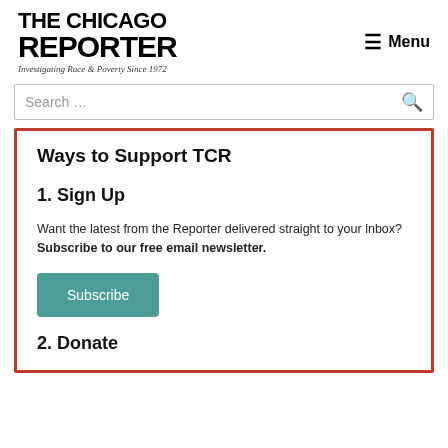THE CHICAGO REPORTER — Investigating Race & Poverty Since 1972
Ways to Support TCR
1. Sign Up
Want the latest from the Reporter delivered straight to your inbox? Subscribe to our free email newsletter.
Subscribe
2. Donate